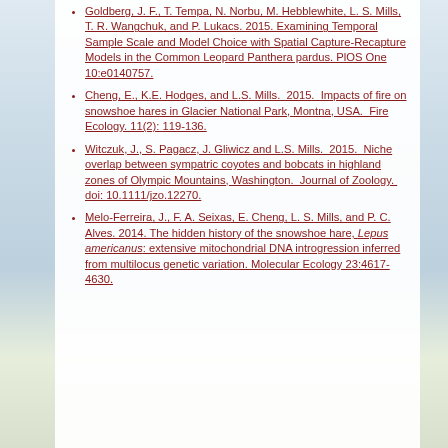Goldberg, J. F., T. Tempa, N. Norbu, M. Hebblewhite, L. S. Mills, T. R. Wangchuk, and P. Lukacs. 2015. Examining Temporal Sample Scale and Model Choice with Spatial Capture-Recapture Models in the Common Leopard Panthera pardus. PlOS One 10:e0140757.
Cheng, E., K.E. Hodges, and L.S. Mills. 2015. Impacts of fire on snowshoe hares in Glacier National Park, Montna, USA. Fire Ecology. 11(2): 119-136.
Witczuk, J., S. Pagacz, J. Gliwicz and L.S. Mills. 2015. Niche overlap between sympatric coyotes and bobcats in highland zones of Olympic Mountains, Washington. Journal of Zoology. doi: 10.1111/jzo.12270.
Melo-Ferreira, J., F. A. Seixas, E. Cheng, L. S. Mills, and P. C. Alves. 2014. The hidden history of the snowshoe hare, Lepus americanus: extensive mitochondrial DNA introgression inferred from multilocus genetic variation. Molecular Ecology 23:4617-4630.